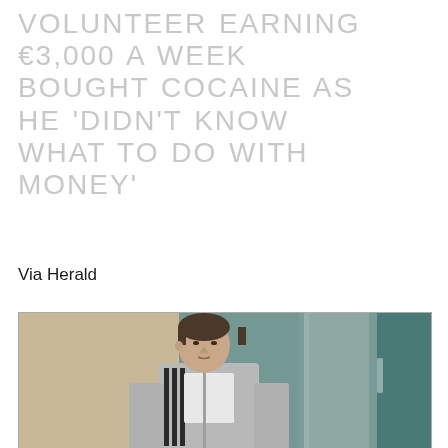VOLUNTEER EARNING €3,000 A WEEK BOUGHT COCAINE AS HE 'DIDN'T KNOW WHAT TO DO WITH MONEY'
Via Herald
[Figure (photo): A young man with short hair wearing a grey Adidas hoodie and white t-shirt, standing in front of a building entrance with glass doors and a beige/tan wall to the left.]